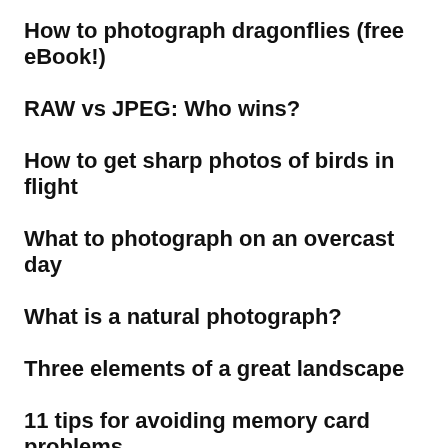How to photograph dragonflies (free eBook!)
RAW vs JPEG: Who wins?
How to get sharp photos of birds in flight
What to photograph on an overcast day
What is a natural photograph?
Three elements of a great landscape
11 tips for avoiding memory card problems
Tips for photographing shorebirds